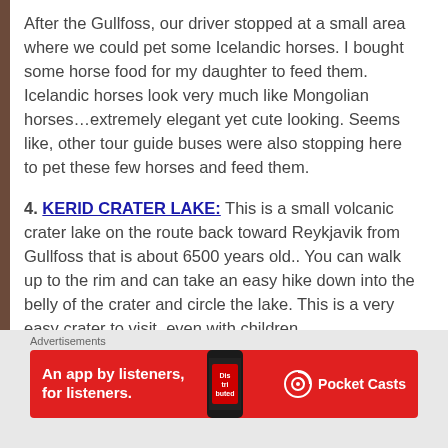After the Gullfoss, our driver stopped at a small area where we could pet some Icelandic horses. I bought some horse food for my daughter to feed them. Icelandic horses look very much like Mongolian horses…extremely elegant yet cute looking. Seems like, other tour guide buses were also stopping here to pet these few horses and feed them.
4. KERID CRATER LAKE: This is a small volcanic crater lake on the route back toward Reykjavik from Gullfoss that is about 6500 years old.. You can walk up to the rim and can take an easy hike down into the belly of the crater and circle the lake. This is a very easy crater to visit, even with children.
[Figure (photo): Landscape photo showing the green rim of Kerid Crater Lake with hazy sky in background. Watermark reads: Nabia Salians / JourneyAroundTheGlobe.com]
Advertisements
[Figure (other): Red advertisement banner: An app by listeners, for listeners. — Pocket Casts logo, with image of a mobile phone]